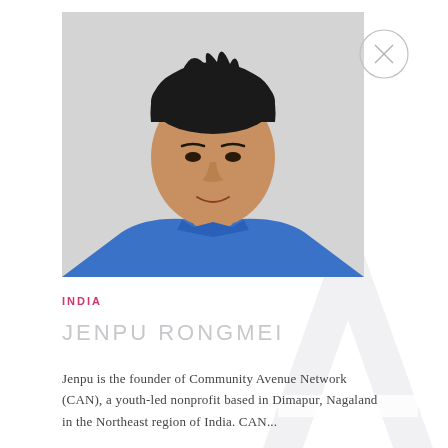[Figure (photo): Headshot photo of Jenpu Rongmei, a man wearing a blue shirt, photographed against a light gray background]
INDIA
JENPU RONGMEI
Jenpu is the founder of Community Avenue Network (CAN), a youth-led nonprofit based in Dimapur, Nagaland in the Northeast region of India. CAN...